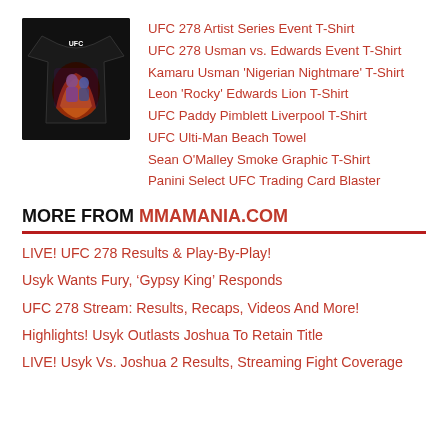[Figure (photo): Black UFC t-shirt with colorful graphic artwork featuring fighters]
UFC 278 Artist Series Event T-Shirt
UFC 278 Usman vs. Edwards Event T-Shirt
Kamaru Usman 'Nigerian Nightmare' T-Shirt
Leon 'Rocky' Edwards Lion T-Shirt
UFC Paddy Pimblett Liverpool T-Shirt
UFC Ulti-Man Beach Towel
Sean O'Malley Smoke Graphic T-Shirt
Panini Select UFC Trading Card Blaster
MORE FROM MMAMANIA.COM
LIVE! UFC 278 Results & Play-By-Play!
Usyk Wants Fury, ‘Gypsy King’ Responds
UFC 278 Stream: Results, Recaps, Videos And More!
Highlights! Usyk Outlasts Joshua To Retain Title
LIVE! Usyk Vs. Joshua 2 Results, Streaming Fight Coverage